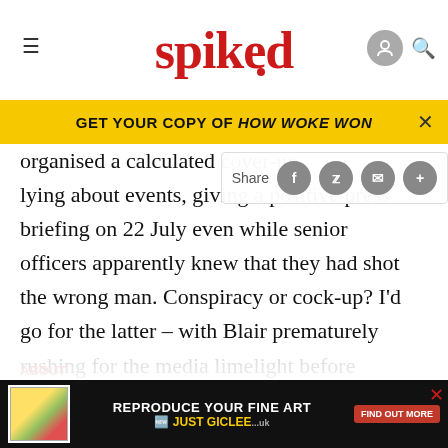spiked
GET YOUR COPY OF HOW WOKE WON
organised a calculated cover-up lying about events, giving a positive press briefing on 22 July even while senior officers apparently knew that they had shot the wrong man. Conspiracy or cock-up? I'd go for the latter – with Blair prematurely rushing for the media limelight before dealing properly with the scene on the ground. Then the police officers involved are accused of covering up by changing their logbooks, but the telling fact about this is
ABOUT